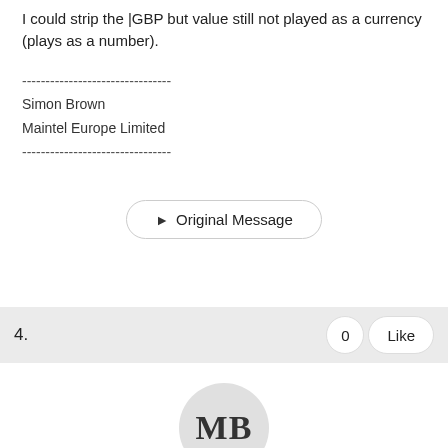I could strip the |GBP but value still not played as a currency (plays as a number).
--------------------------------
Simon Brown
Maintel Europe Limited
--------------------------------
▶ Original Message
4.
[Figure (other): Avatar circle with initials MB]